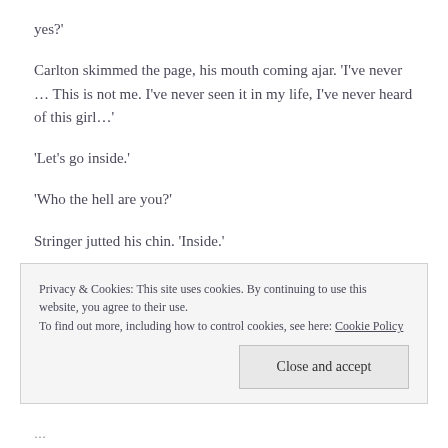yes?'
Carlton skimmed the page, his mouth coming ajar. 'I've never … This is not me. I've never seen it in my life, I've never heard of this girl…'
'Let's go inside.'
'Who the hell are you?'
Stringer jutted his chin. 'Inside.'
Privacy & Cookies: This site uses cookies. By continuing to use this website, you agree to their use.
To find out more, including how to control cookies, see here: Cookie Policy
…